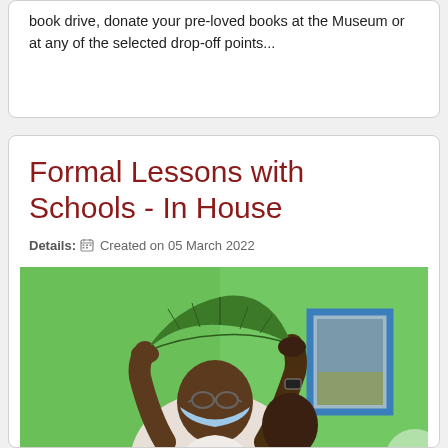book drive, donate your pre-loved books at the Museum or at any of the selected drop-off points...
Formal Lessons with Schools - In House
Details: Created on 05 March 2022
[Figure (photo): A person wearing a face mask and glasses holds up a large green leaf with both hands, standing in front of a green wall. Another person is partially visible behind them. A blue-framed picture hangs on the wall in the background.]